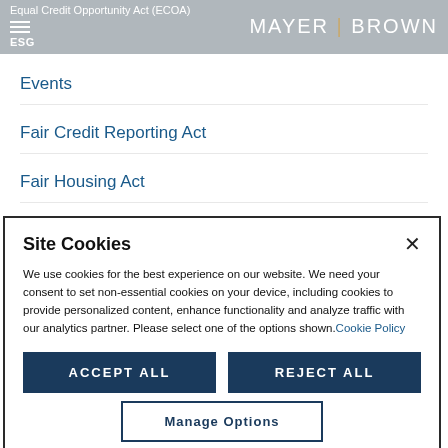Equal Credit Opportunity Act (ECOA) | ESG | MAYER BROWN
Events
Fair Credit Reporting Act
Fair Housing Act
Fair Lending
Site Cookies
We use cookies for the best experience on our website. We need your consent to set non-essential cookies on your device, including cookies to provide personalized content, enhance functionality and analyze traffic with our analytics partner. Please select one of the options shown. Cookie Policy